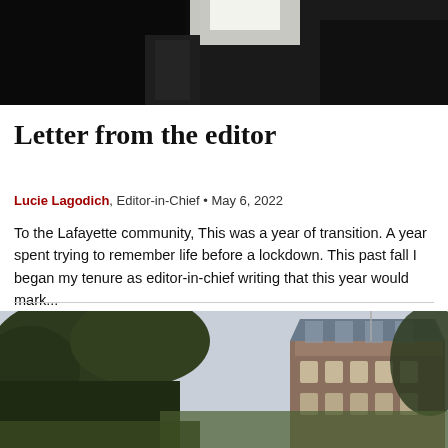[Figure (photo): Dark photo of what appears to be a person or object in low light with a bright light source visible]
Letter from the editor
Lucie Lagodich, Editor-in-Chief • May 6, 2022
To the Lafayette community, This was a year of transition. A year spent trying to remember life before a lockdown. This past fall I began my tenure as editor-in-chief writing that this year would mark...
[Figure (photo): Exterior photo of a large brick academic building (Lafayette College) surrounded by trees]